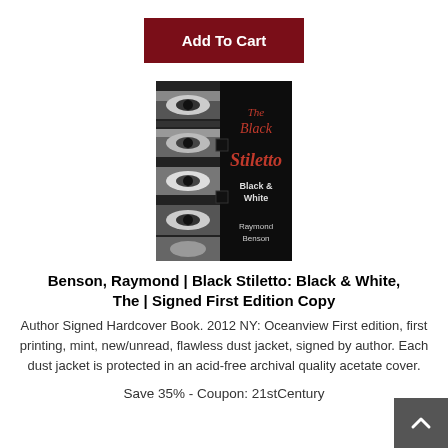Add To Cart
[Figure (photo): Book cover of 'The Black Stiletto: Black & White' by Raymond Benson. Black and white cover with red stylized script title and author name at the bottom.]
Benson, Raymond | Black Stiletto: Black & White, The | Signed First Edition Copy
Author Signed Hardcover Book. 2012 NY: Oceanview First edition, first printing, mint, new/unread, flawless dust jacket, signed by author. Each dust jacket is protected in an acid-free archival quality acetate cover.
Save 35% - Coupon: 21stCentury